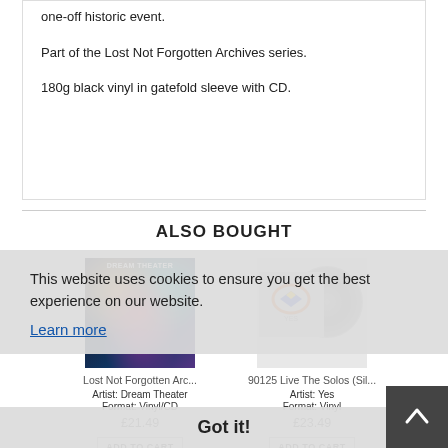one-off historic event.
Part of the Lost Not Forgotten Archives series.
180g black vinyl in gatefold sleeve with CD.
ALSO BOUGHT
[Figure (photo): Dream Theater album cover - Lost Not Forgotten Archives series, colorful psychedelic design]
Lost Not Forgotten Arc...
Artist: Dream Theater
Format: Vinyl/CD
£21.49
[Figure (photo): Yes album cover - 90125 Live The Solos (Sil...) with silver vinyl record]
90125 Live The Solos (Sil...
Artist: Yes
Format: Vinyl
£23.49
This website uses cookies to ensure you get the best experience on our website.
Learn more
Got it!